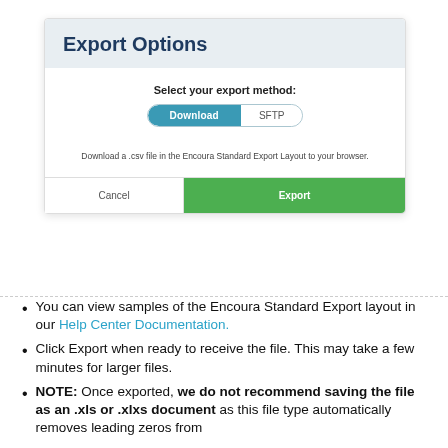Export Options
Select your export method:
[Figure (screenshot): Toggle button group with 'Download' (active, teal) and 'SFTP' (inactive) options]
Download a .csv file in the Encoura Standard Export Layout to your browser.
[Figure (screenshot): Two action buttons: 'Cancel' (white/outlined) and 'Export' (green)]
You can view samples of the Encoura Standard Export layout in our Help Center Documentation.
Click Export when ready to receive the file. This may take a few minutes for larger files.
NOTE: Once exported, we do not recommend saving the file as an .xls or .xlxs document as this file type automatically removes leading zeros from...